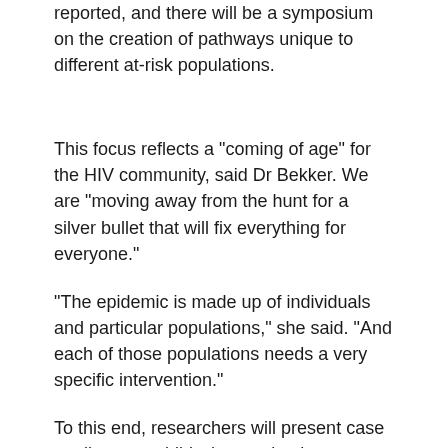reported, and there will be a symposium on the creation of pathways unique to different at-risk populations.
This focus reflects a "coming of age" for the HIV community, said Dr Bekker. We are "moving away from the hunt for a silver bullet that will fix everything for everyone."
"The epidemic is made up of individuals and particular populations," she said. "And each of those populations needs a very specific intervention."
To this end, researchers will present case studies on a child who received treatment weeks after birth and an adult who began treatment on the first day of detectable HIV antibodies.
"Both studies raise the question of whether treatment by